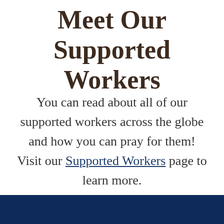Meet Our Supported Workers
You can read about all of our supported workers across the globe and how you can pray for them! Visit our Supported Workers page to learn more.